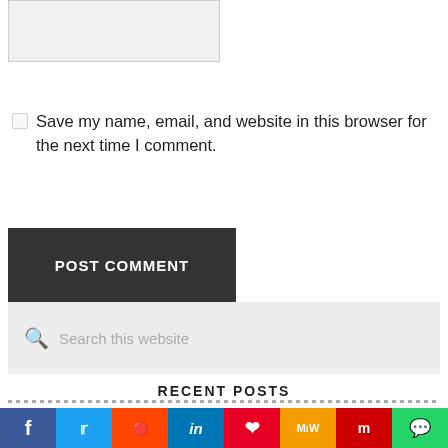[Figure (screenshot): Gray textarea input box (comment form field)]
Save my name, email, and website in this browser for the next time I comment.
[Figure (screenshot): POST COMMENT dark button]
[Figure (screenshot): Search this website search bar with magnifying glass icon]
RECENT POSTS
Best Over-Ear Headphones Under 30
Best Wireless DJ Headphones
[Figure (infographic): Social sharing bar with icons: Facebook, Twitter, Reddit, LinkedIn, Pinterest, MeWe, Mix, WhatsApp]